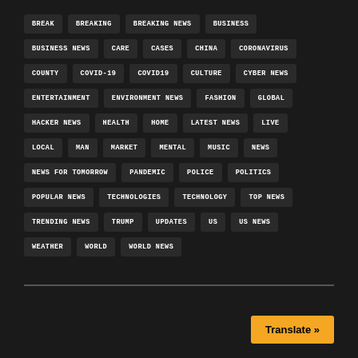BREAK
BREAKING
BREAKING NEWS
BUSINESS
BUSINESS NEWS
CARE
CASES
CHINA
CORONAVIRUS
COUNTY
COVID-19
COVID19
CULTURE
CYBER NEWS
ENTERTAINMENT
ENVIRONMENT NEWS
FASHION
GLOBAL
HACKER NEWS
HEALTH
HOME
LATEST NEWS
LIVE
LOCAL
MAN
MARKET
MENTAL
MUSIC
NEWS
NEWS FOR TOMORROW
PANDEMIC
POLICE
POLITICS
POPULAR NEWS
TECHNOLOGIES
TECHNOLOGY
TOP NEWS
TRENDING NEWS
TRUMP
UPDATES
US
US NEWS
WEATHER
WORLD
WORLD NEWS
Translate »